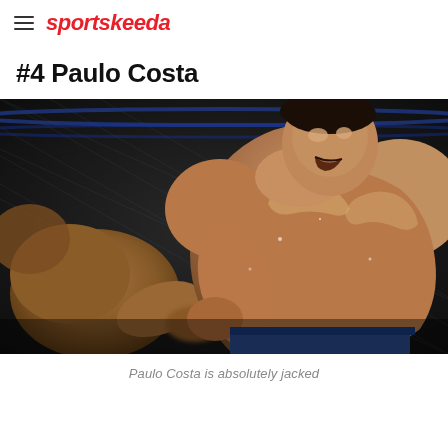sportskeeda
#4 Paulo Costa
[Figure (photo): Paulo Costa in a UFC fight, muscular MMA fighter receiving a kick, shot in a dark arena with octagon cage visible in background]
Paulo Costa is absolutely jacked